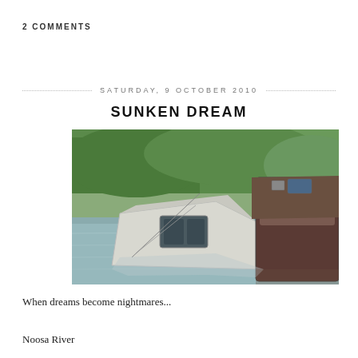2 COMMENTS
SATURDAY, 9 OCTOBER 2010
SUNKEN DREAM
[Figure (photo): A sunken or heavily listing boat/houseboat partially submerged in a river, with the roof and upper structure visible above the waterline. Trees are visible in the background.]
When dreams become nightmares...
Noosa River